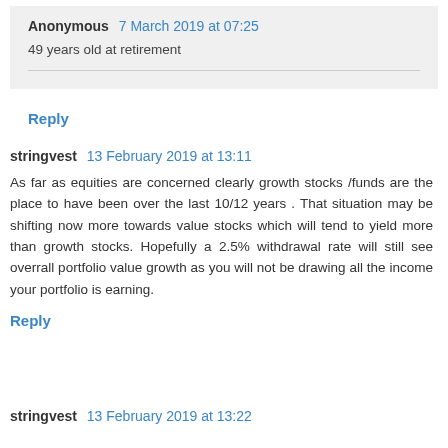Anonymous 7 March 2019 at 07:25
49 years old at retirement
Reply
stringvest 13 February 2019 at 13:11
As far as equities are concerned clearly growth stocks /funds are the place to have been over the last 10/12 years . That situation may be shifting now more towards value stocks which will tend to yield more than growth stocks. Hopefully a 2.5% withdrawal rate will still see overrall portfolio value growth as you will not be drawing all the income your portfolio is earning.
Reply
stringvest 13 February 2019 at 13:22